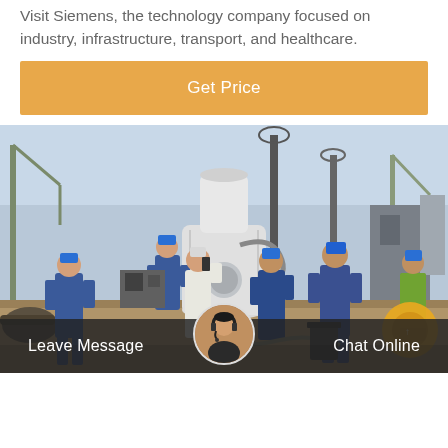Visit Siemens, the technology company focused on industry, infrastructure, transport, and healthcare.
[Figure (other): Orange 'Get Price' button bar]
[Figure (photo): Workers in blue overalls and hard hats working on industrial electrical or transformer equipment at an outdoor construction/plant site. A large white cylindrical piece of equipment is in the center.]
Leave Message   Chat Online